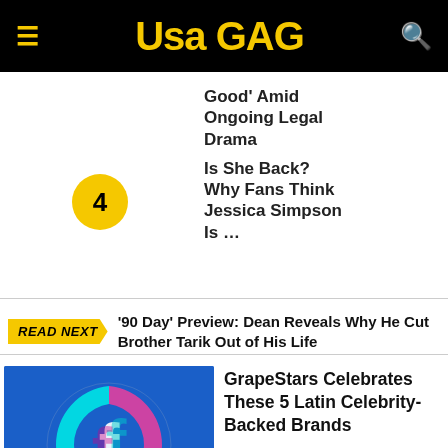USA GAG
Good' Amid Ongoing Legal Drama
Is She Back? Why Fans Think Jessica Simpson Is …
READ NEXT '90 Day' Preview: Dean Reveals Why He Cut Brother Tarik Out of His Life
[Figure (photo): Facebook logo with glitch/split effect on blue background]
GrapeStars Celebrates These 5 Latin Celebrity-Backed Brands
Facebook says what went